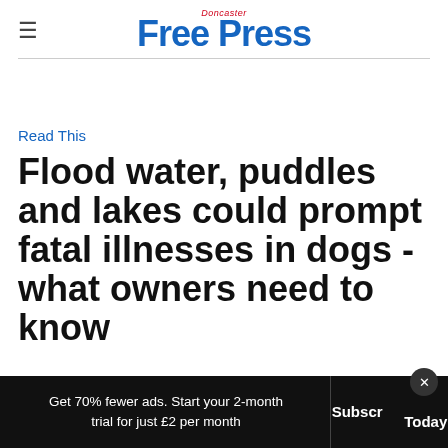Doncaster Free Press
Read This
Flood water, puddles and lakes could prompt fatal illnesses in dogs - what owners need to know
Get 70% fewer ads. Start your 2-month trial for just £2 per month  Subscribe Today